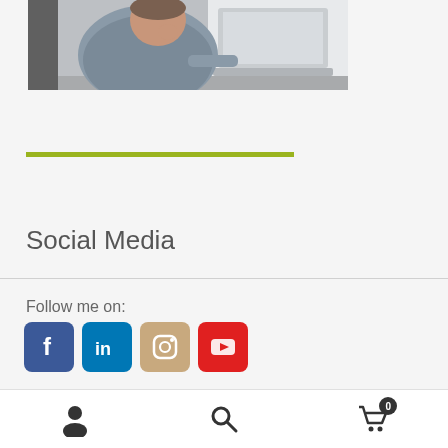[Figure (photo): Man in grey shirt sitting at desk using a laptop, resting his chin on his hand]
Social Media
Follow me on:
[Figure (infographic): Social media icons: Facebook (blue), LinkedIn (blue), Instagram (tan/brown), YouTube (red)]
Navigation bar with user icon, search icon, and cart icon with badge 0